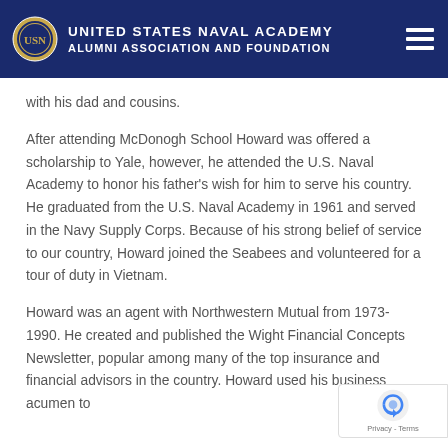United States Naval Academy Alumni Association and Foundation
with his dad and cousins.
After attending McDonogh School Howard was offered a scholarship to Yale, however, he attended the U.S. Naval Academy to honor his father’s wish for him to serve his country. He graduated from the U.S. Naval Academy in 1961 and served in the Navy Supply Corps. Because of his strong belief of service to our country, Howard joined the Seabees and volunteered for a tour of duty in Vietnam.
Howard was an agent with Northwestern Mutual from 1973-1990. He created and published the Wight Financial Concepts Newsletter, popular among many of the top insurance and financial advisors in the country. Howard used his business acumen to